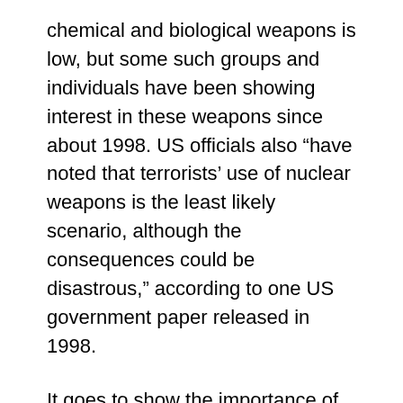chemical and biological weapons is low, but some such groups and individuals have been showing interest in these weapons since about 1998. US officials also “have noted that terrorists’ use of nuclear weapons is the least likely scenario, although the consequences could be disastrous,” according to one US government paper released in 1998.
It goes to show the importance of attacking this problem together, whether it be a group of national agencies, or a group on a hijacked plane. Whatever happens, we must work together to ensure that a hijacking ordeal ends as safely as possible, for the greatest number of people possible. It’s the only way an enemy of this kind